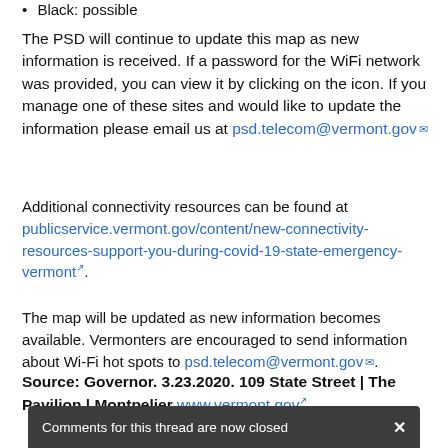Black: possible
The PSD will continue to update this map as new information is received. If a password for the WiFi network was provided, you can view it by clicking on the icon. If you manage one of these sites and would like to update the information please email us at psd.telecom@vermont.gov
Additional connectivity resources can be found at publicservice.vermont.gov/content/new-connectivity-resources-support-you-during-covid-19-state-emergency-vermont.
The map will be updated as new information becomes available. Vermonters are encouraged to send information about Wi-Fi hot spots to psd.telecom@vermont.gov.
Source: Governor. 3.23.2020. 109 State Street | The Pavilion | Montpelier www.vermont.gov
Comments for this thread are now closed